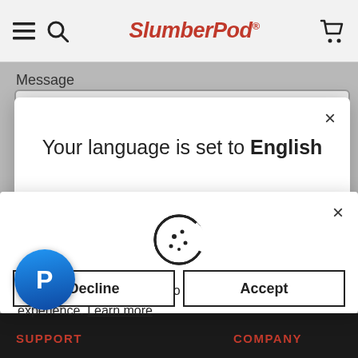SlumberPod
Message
[Figure (screenshot): Language modal dialog with close button. Text reads: Your language is set to English]
[Figure (screenshot): Cookie consent modal with cookie icon. Text: This website uses cookies to ensure you get the best experience. Learn more. Buttons: Decline, Accept]
[Figure (logo): PayPal circular blue button with white P logo]
SUPPORT   COMPANY